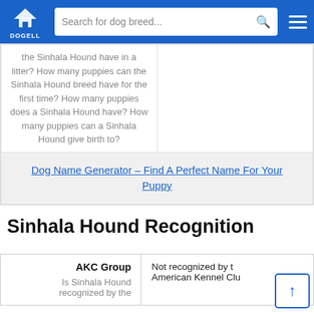DOGELL | Search for dog breed...
the Sinhala Hound have in a litter? How many puppies can the Sinhala Hound breed have for the first time? How many puppies does a Sinhala Hound have? How many puppies can a Sinhala Hound give birth to?
Dog Name Generator – Find A Perfect Name For Your Puppy
Sinhala Hound Recognition
| AKC Group |  |
| --- | --- |
| AKC Group
Is Sinhala Hound recognized by the | Not recognized by the American Kennel Club |